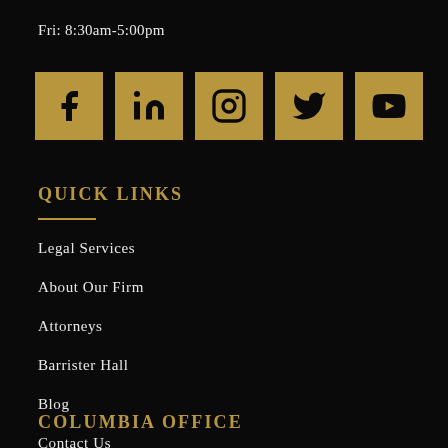Fri: 8:30am-5:00pm
[Figure (illustration): Row of five social media icon buttons (Facebook, LinkedIn, Instagram, Twitter, YouTube) on gold/tan square backgrounds]
QUICK LINKS
Legal Services
About Our Firm
Attorneys
Barrister Hall
Blog
Contact Us
COLUMBIA OFFICE